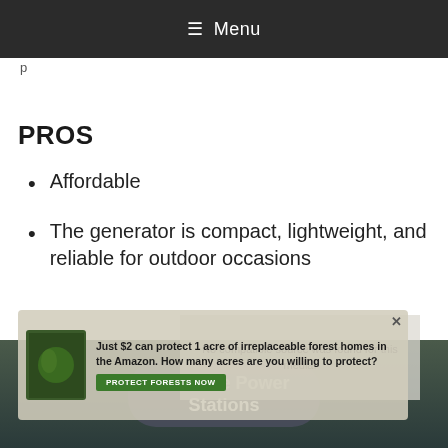≡ Menu
p
PROS
Affordable
The generator is compact, lightweight, and reliable for outdoor occasions
[Figure (other): Advertisement overlay: Just $2 can protect 1 acre of irreplaceable forest homes in the Amazon. How many acres are you willing to protect? PROTECT FORESTS NOW]
[Figure (other): Video player overlay showing 'No compatible source was found for this media']
[Figure (other): Bottom image showing text: Portable Power Stations]